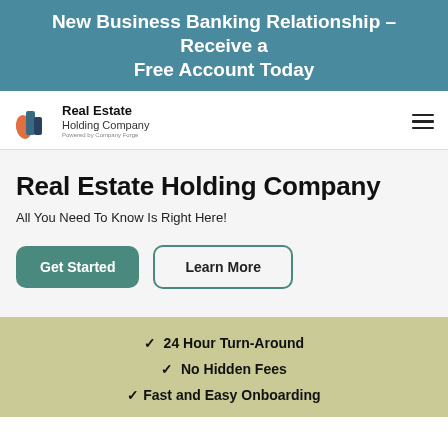New Business Banking Relationship – Receive a Free Account Today
[Figure (logo): Real Estate Holding Company logo with stylized building icon in orange, teal, and dark blue]
Real Estate Holding Company
All You Need To Know Is Right Here!
Get Started
Learn More
24 Hour Turn-Around
No Hidden Fees
Fast and Easy Onboarding